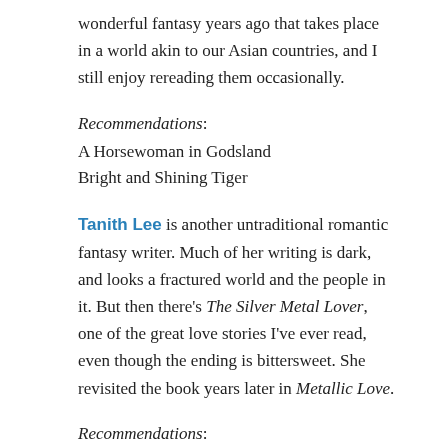wonderful fantasy years ago that takes place in a world akin to our Asian countries, and I still enjoy rereading them occasionally.
Recommendations:
A Horsewoman in Godsland
Bright and Shining Tiger
Tanith Lee is another untraditional romantic fantasy writer. Much of her writing is dark, and looks a fractured world and the people in it. But then there's The Silver Metal Lover, one of the great love stories I've ever read, even though the ending is bittersweet. She revisited the book years later in Metallic Love.
Recommendations:
The Silver Metal Lover